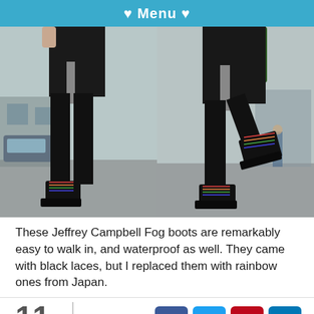♥ Menu ♥
[Figure (photo): Two side-by-side photos of a person wearing a black skirt, black tights, and black platform boots with rainbow laces, standing on a street.]
These Jeffrey Campbell Fog boots are remarkably easy to walk in, and waterproof as well. They came with black laces, but I replaced them with rainbow ones from Japan.
11 SHARES
[Figure (other): Social media share icons: Facebook, Twitter, Pinterest, LinkedIn]